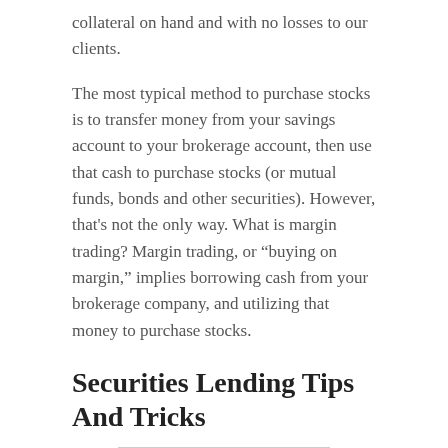collateral on hand and with no losses to our clients.
The most typical method to purchase stocks is to transfer money from your savings account to your brokerage account, then use that cash to purchase stocks (or mutual funds, bonds and other securities). However, that's not the only way. What is margin trading? Margin trading, or “buying on margin,” implies borrowing cash from your brokerage company, and utilizing that money to purchase stocks.
Securities Lending Tips And Tricks
[Figure (photo): Broken image placeholder labeled 'The Best Securities Lending']
Purchasing on margin has some major appeal compared with using cash, but it is very important to